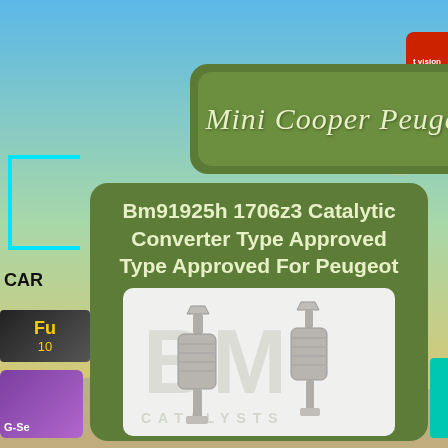Mini Cooper Peugeot
Bm91925h 1706z3 Catalytic Converter Type Approved Type Approved For Peugeot
[Figure (photo): Two BM Catalysts catalytic converters shown side by side with BM Catalysts watermark logo in background]
[Figure (logo): BM Catalysts logo with circular design on right side]
[Figure (logo): G-sensor or similar app/product logo bottom left (purple background)]